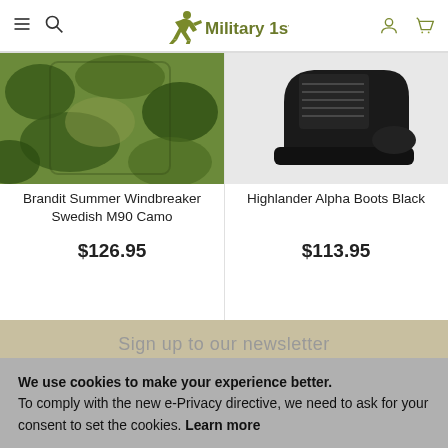Military 1st — navigation header with hamburger menu, search, logo, account, and cart icons
[Figure (photo): Brandit Summer Windbreaker in Swedish M90 camouflage pattern — green/brown camo jacket]
Brandit Summer Windbreaker Swedish M90 Camo
$126.95
[Figure (photo): Highlander Alpha Boots Black — black leather military boot]
Highlander Alpha Boots Black
$113.95
Sign up to our newsletter
We use cookies to make your experience better. To comply with the new e-Privacy directive, we need to ask for your consent to set the cookies. Learn more
Allow Cookies